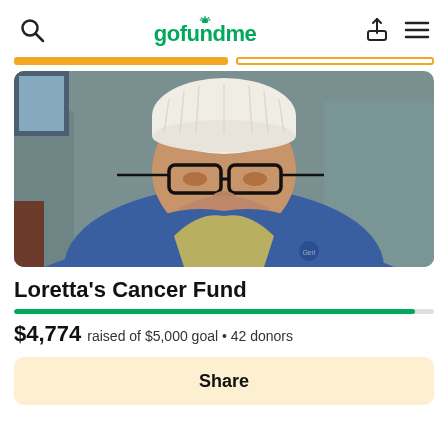gofundme
[Figure (photo): Elderly woman wearing white knit beanie hat and glasses, sitting in a chair, wearing a blue and yellow jacket]
Loretta's Cancer Fund
$4,774 raised of $5,000 goal • 42 donors
Share